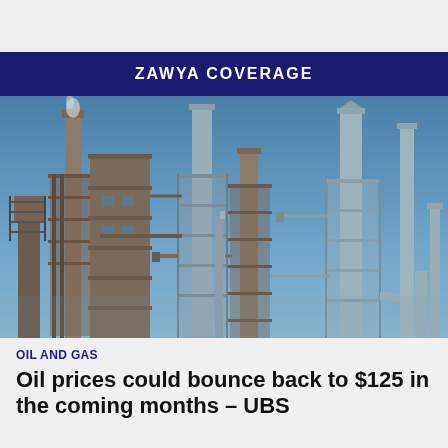ZAWYA COVERAGE
[Figure (photo): Industrial oil refinery with multiple tall metal towers and chimneys against a blue sky]
OIL AND GAS
Oil prices could bounce back to $125 in the coming months – UBS